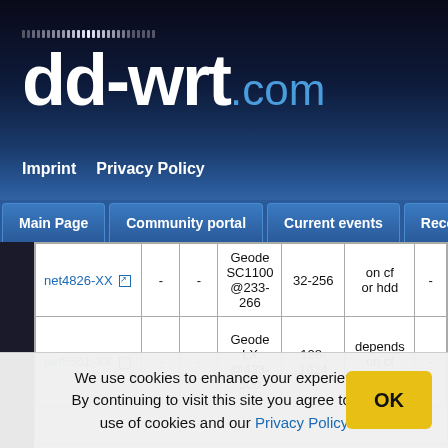[Figure (logo): dd-wrt.com website logo with dot-matrix style dots above the text]
Imprint  Privacy Policy
Main Page  Community portal  Current events  Recent changes
| net4826-XX | - | - | Geode SC1100 @233-266 | 32-256 | on cf or hdd | - |
| net5501-XX | - | - | Geode LX @433-500 | 128-1024 | depends on cf or hdd | - |
SparkLAN
We use cookies to enhance your experience. By continuing to visit this site you agree to our use of cookies and our Privacy Policy